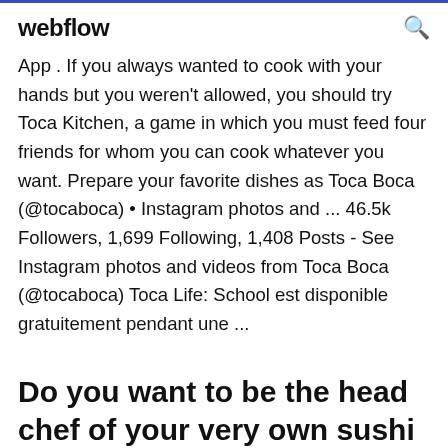webflow
App . If you always wanted to cook with your hands but you weren't allowed, you should try Toca Kitchen, a game in which you must feed four friends for whom you can cook whatever you want. Prepare your favorite dishes as Toca Boca (@tocaboca) • Instagram photos and ... 46.5k Followers, 1,699 Following, 1,408 Posts - See Instagram photos and videos from Toca Boca (@tocaboca) Toca Life: School est disponible gratuitement pendant une ...
Do you want to be the head chef of your very own sushi